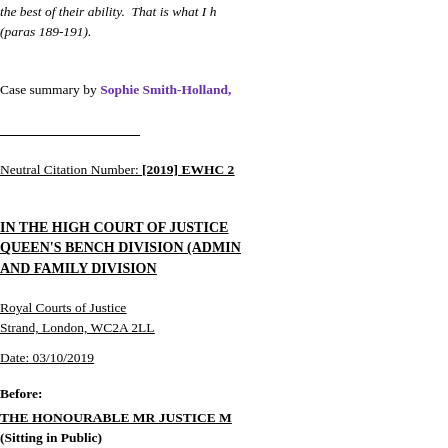the best of their ability.  That is what I h (paras 189-191).
Case summary by Sophie Smith-Holland,
Neutral Citation Number: [2019] EWHC 2
IN THE HIGH COURT OF JUSTICE QUEEN'S BENCH DIVISION (ADMIN AND FAMILY DIVISION
Royal Courts of Justice
Strand, London, WC2A 2LL
Date: 03/10/2019
Before:
THE HONOURABLE MR JUSTICE M (Sitting in Public)
- - - - - - - - - - - - - - - - - - -
Case No: CO/2767/2019
Between: